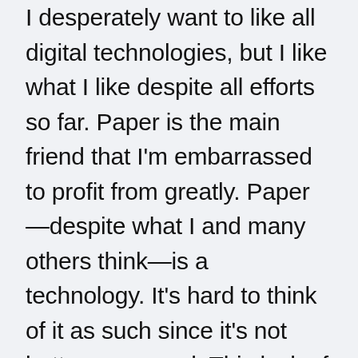I desperately want to like all digital technologies, but I like what I like despite all efforts so far. Paper is the main friend that I'm embarrassed to profit from greatly. Paper—despite what I and many others think—is a technology. It's hard to think of it as such since it's not battery-powered. This lack of battery is a feature, not a bug. Recognizing the technology aspect of paper is an important reframe for me as it places paper on the same level as other more interesting and distracting technologies. And this is the core struggle because I've known forever that paper makes me more productive (while seemingly less